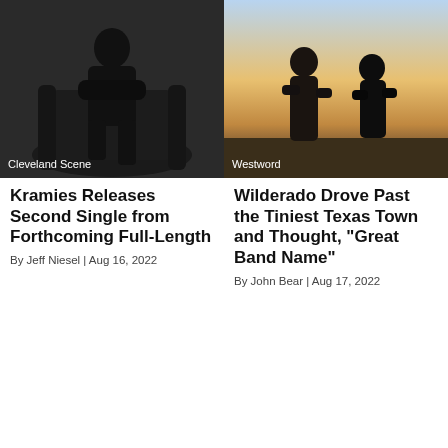[Figure (photo): Black and white photo of a person in dark clothing sitting in an ornate chair, 'Cleveland Scene' label overlay]
[Figure (photo): Color photo of two people standing outdoors at dusk, 'Westword' label overlay]
Kramies Releases Second Single from Forthcoming Full-Length
By Jeff Niesel | Aug 16, 2022
Wilderado Drove Past the Tiniest Texas Town and Thought, "Great Band Name"
By John Bear | Aug 17, 2022